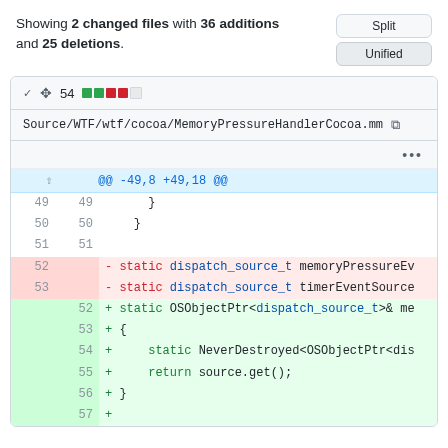Showing 2 changed files with 36 additions and 25 deletions.
[Figure (screenshot): GitHub diff view showing file Source/WTF/wtf/cocoa/MemoryPressureHandlerCocoa.mm with split/unified buttons and code diff lines 49-57]
| old ln | new ln | code |
| --- | --- | --- |
| 49 | 49 |     } |
| 50 | 50 |   } |
| 51 | 51 |  |
| 52 |  | - static dispatch_source_t memoryPressureEv |
| 53 |  | - static dispatch_source_t timerEventSource |
|  | 52 | + static OSObjectPtr<dispatch_source_t>& me |
|  | 53 | + { |
|  | 54 | +     static NeverDestroyed<OSObjectPtr<dis |
|  | 55 | +     return source.get(); |
|  | 56 | + } |
|  | 57 | + |